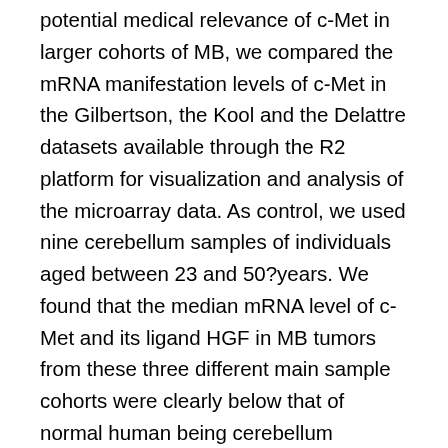potential medical relevance of c-Met in larger cohorts of MB, we compared the mRNA manifestation levels of c-Met in the Gilbertson, the Kool and the Delattre datasets available through the R2 platform for visualization and analysis of the microarray data. As control, we used nine cerebellum samples of individuals aged between 23 and 50?years. We found that the median mRNA level of c-Met and its ligand HGF in MB tumors from these three different main sample cohorts were clearly below that of normal human being cerebellum (Number?1A). However, a sub-population of MB tumors averaging 17.5% (Figure?1A, c-Met high) showed significantly increased c-Met manifestation. Moreover, the same datasets exposed high mRNA manifestation of the c-Met co-receptor CD44 (Orian-Rousseau et al. 2002) in all MB tumor samples. By analyzing 103 main MB tumors of the Northcott 103 dataset (Northcott et al. 2011), Onvani explained the association of c-Met with the SHH subgroup (Onvani et al. 2012). We confirmed this getting using the 285 tumors of the MAGIC dataset (Northcott et al. 2012b)